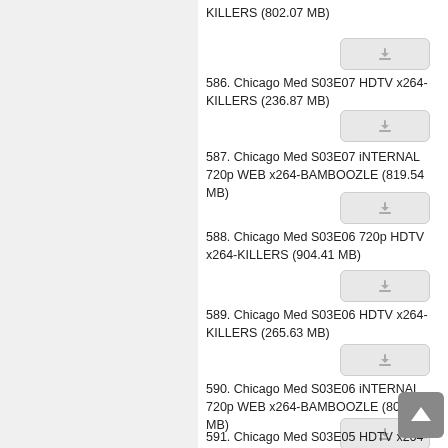KILLERS (802.07 MB)
586. Chicago Med S03E07 HDTV x264-KILLERS (236.87 MB)
587. Chicago Med S03E07 iNTERNAL 720p WEB x264-BAMBOOZLE (819.54 MB)
588. Chicago Med S03E06 720p HDTV x264-KILLERS (904.41 MB)
589. Chicago Med S03E06 HDTV x264-KILLERS (265.63 MB)
590. Chicago Med S03E06 iNTERNAL 720p WEB x264-BAMBOOZLE (805.59 MB)
591. Chicago Med S03E05 HDTV x264-KILLERS (271.88 MB)